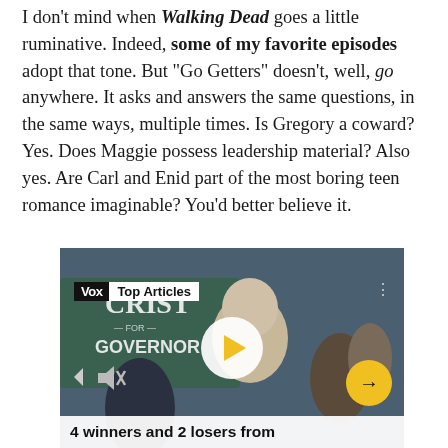I don't mind when Walking Dead goes a little ruminative. Indeed, some of my favorite episodes adopt that tone. But "Go Getters" doesn't, well, go anywhere. It asks and answers the same questions, in the same ways, multiple times. Is Gregory a coward? Yes. Does Maggie possess leadership material? Also yes. Are Carl and Enid part of the most boring teen romance imaginable? You'd better believe it.
[Figure (screenshot): Video player screenshot showing a Vox 'Top Articles' overlay on a video of an elderly man at a political event (Crist for Governor sign visible in background). A white play button circle with yellow triangle is centered. Yellow forward arrow button on right. Caption bar at bottom reads '4 winners and 2 losers from']